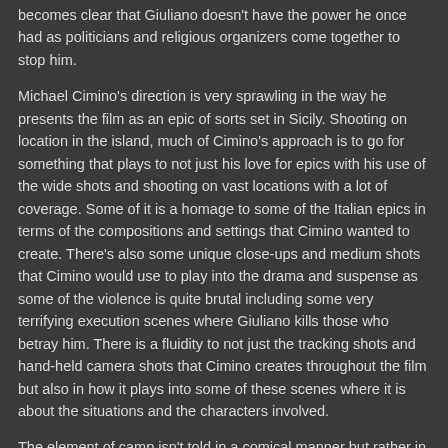becomes clear that Giuliano doesn't have the power he once had as politicians and religious organizers come together to stop him.
Michael Cimino's direction is very sprawling in the way he presents the film as an epic of sorts set in Sicily. Shooting on location in the island, much of Cimino's approach is to go for something that plays to not just his love for epics with his use of the wide shots and shooting on vast locations with a lot of coverage. Some of it is a homage to some of the Italian epics in terms of the compositions and settings that Cimino wanted to create. There's also some unique close-ups and medium shots that Cimino would use to play into the drama and suspense as some of the violence is quite brutal including some very terrifying execution scenes where Giuliano kills those who betray him. There is a fluidity to not just the tracking shots and hand-held camera shots that Cimino creates throughout the film but also in how it plays into some of these scenes where it is about the situations and the characters involved.
The element of camp isn't told in a comical manner but rather in a style that is a bit over the top in terms of the